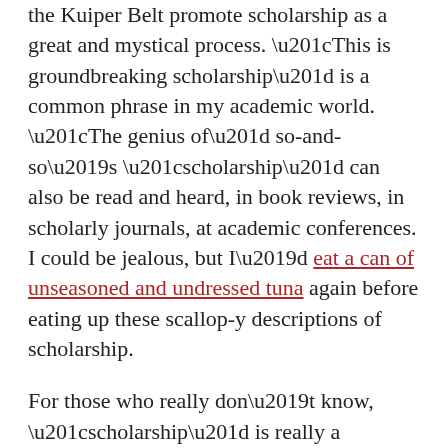the Kuiper Belt promote scholarship as a great and mystical process. “This is groundbreaking scholarship” is a common phrase in my academic world. “The genius of” so-and-so’s “scholarship” can also be read and heard, in book reviews, in scholarly journals, at academic conferences. I could be jealous, but I’d eat a can of unseasoned and undressed tuna again before eating up these scallop-y descriptions of scholarship.
For those who really don’t know, “scholarship” is really a combination of three things.
1. Research, which in my field usually involves archival materials, like a letter Martha Washington might have written